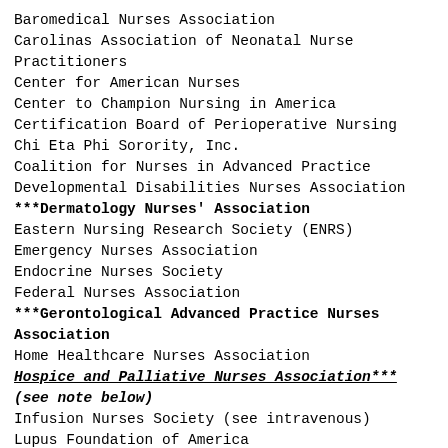Baromedical Nurses Association
Carolinas Association of Neonatal Nurse Practitioners
Center for American Nurses
Center to Champion Nursing in America
Certification Board of Perioperative Nursing
Chi Eta Phi Sorority, Inc.
Coalition for Nurses in Advanced Practice
Developmental Disabilities Nurses Association
***Dermatology Nurses' Association
Eastern Nursing Research Society (ENRS)
Emergency Nurses Association
Endocrine Nurses Society
Federal Nurses Association
***Gerontological Advanced Practice Nurses Association
Home Healthcare Nurses Association
Hospice and Palliative Nurses Association*** (see note below)
Infusion Nurses Society (see intravenous)
Lupus Foundation of America